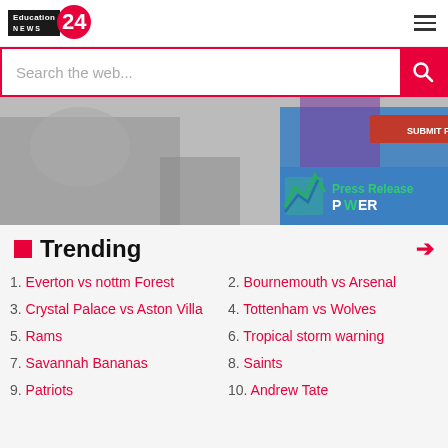Education News 24
[Figure (screenshot): Search bar with 'Search the web...' placeholder and pink search button]
[Figure (photo): Banner advertisement for Press Release Power with 'SUBMIT FREE PR' button, showing people at a table in greyscale background]
Trending
1. Everton vs nottm Forest
2. Bournemouth vs Arsenal
3. Crystal Palace vs Aston Villa
4. Tottenham vs Wolves
5. Rams
6. Tropical storm warning
7. Savannah Bananas
8. Saints
9. Patriots
10. Andrew Tate